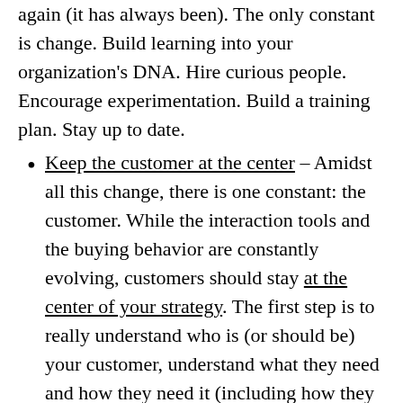again (it has always been). The only constant is change. Build learning into your organization's DNA. Hire curious people. Encourage experimentation. Build a training plan. Stay up to date.
Keep the customer at the center – Amidst all this change, there is one constant: the customer. While the interaction tools and the buying behavior are constantly evolving, customers should stay at the center of your strategy. The first step is to really understand who is (or should be) your customer, understand what they need and how they need it (including how they want to buy) and design your selling process around the customer experience.
Focus – it is all about the business. Marketers must be increasingly accountable for results. Not only leading indicators like website visitors or facebook followers – actual results. I am talking revenue growth, increase in customer lifetime value, customer satisfaction, loyalty and advocacy. This is what I mean: if you build great